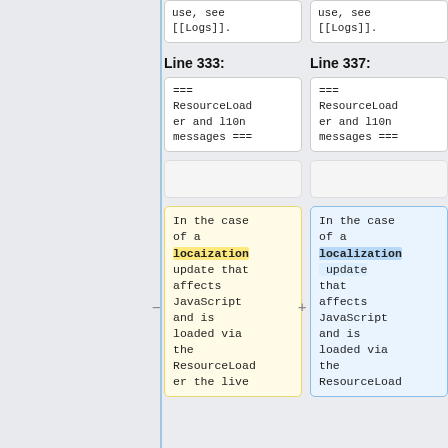use, see [[Logs]].
use, see [[Logs]].
Line 333:
Line 337:
=== ResourceLoader and l10n messages ===
=== ResourceLoader and l10n messages ===
In the case of a localization update that affects JavaScript and is loaded via the ResourceLoader the live
In the case of a localization update that affects JavaScript and is loaded via the ResourceLoad